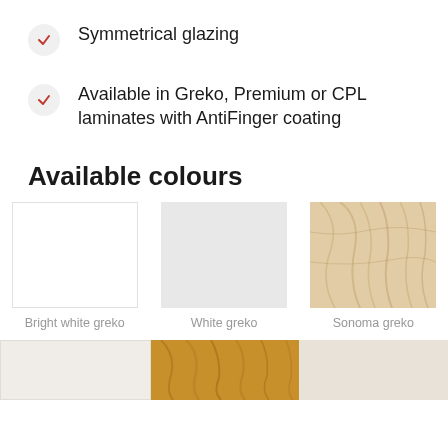Symmetrical glazing
Available in Greko, Premium or CPL laminates with AntiFinger coating
Available colours
[Figure (illustration): Three colour swatches shown side by side: Bright white greko (white), White greko (light grey), Sonoma greko (light wood grain). Below are three more partially visible swatches.]